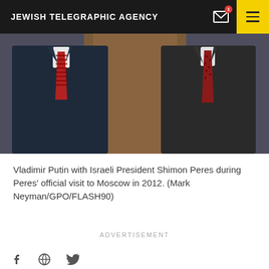JEWISH TELEGRAPHIC AGENCY
[Figure (photo): Two men in dark suits and red ties, torsos visible, standing together — Vladimir Putin and Israeli President Shimon Peres]
Vladimir Putin with Israeli President Shimon Peres during Peres' official visit to Moscow in 2012. (Mark Neyman/GPO/FLASH90)
ADVERTISEMENT